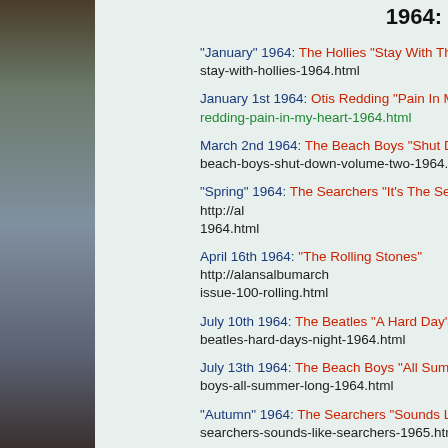1964:
"January" 1964: The Hollies "Stay With The Hollies" http://... stay-with-hollies-1964.html
January 1st 1964: Otis Redding "Pain In My Heart" http://... redding-pain-in-my-heart-1964.html
March 2nd 1964: The Beach Boys "Shut Down Volume 2" beach-boys-shut-down-volume-two-1964.html
"Spring" 1964: The Searchers "It's The Searchers" http://al... 1964.html
April 16th 1964: "The Rolling Stones" http://alansalbumarch... issue-100-rolling.html
July 10th 1964: The Beatles "A Hard Day's Night" http://a... beatles-hard-days-night-1964.html
July 13th 1964: The Beach Boys "All Summer Long" http... boys-all-summer-long-1964.html
"Autumn" 1964: The Searchers "Sounds Like Searchers" searchers-sounds-like-searchers-1965.html